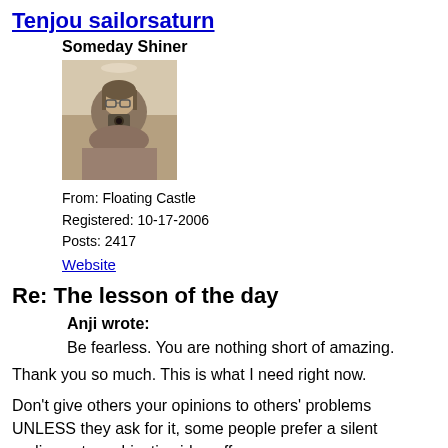Tenjou_sailorsaturn
Someday Shiner
[Figure (photo): Sepia-toned self-portrait photo of a person holding a camera up to take a mirror photo, wearing glasses, indoors.]
From: Floating Castle
Registered: 10-17-2006
Posts: 2417
Website
Re: The lesson of the day
Anji wrote:
Be fearless. You are nothing short of amazing.
Thank you so much. This is what I need right now.
Don't give others your opinions to others' problems UNLESS they ask for it, some people prefer a silent audience to a objective idea offerer.